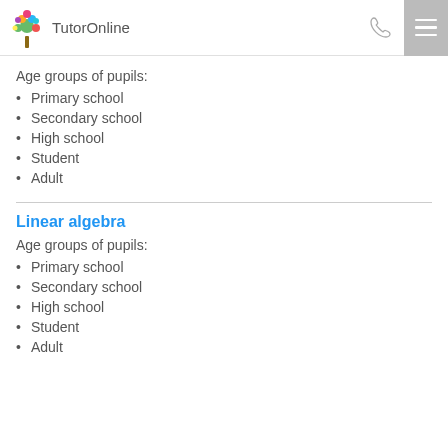TutorOnline
Age groups of pupils:
Primary school
Secondary school
High school
Student
Adult
Linear algebra
Age groups of pupils:
Primary school
Secondary school
High school
Student
Adult